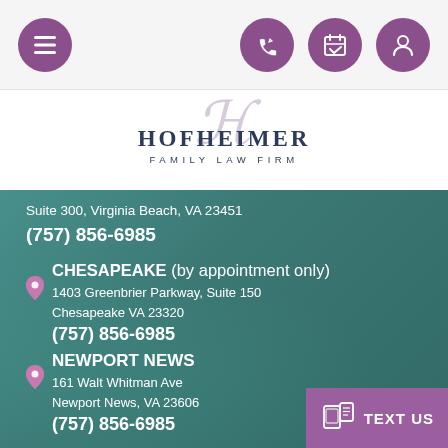[Figure (screenshot): Navigation bar with hamburger menu icon and three other icons (phone, calendar, profile) on a light gray background]
[Figure (logo): Hofheimer Family Law Firm logo with stylized H script and serif text]
Suite 300, Virginia Beach, VA 23451
(757) 856-6985
CHESAPEAKE (by appointment only)
1403 Greenbrier Parkway, Suite 150
Chesapeake VA 23320
(757) 856-6985
NEWPORT NEWS
161 Walt Whitman Ave
Newport News, VA 23606
(757) 856-6985